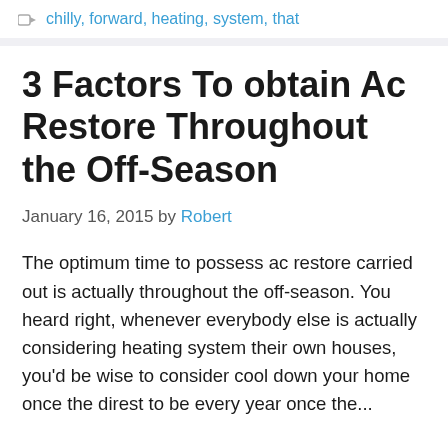chilly, forward, heating, system, that
3 Factors To obtain Ac Restore Throughout the Off-Season
January 16, 2015 by Robert
The optimum time to possess ac restore carried out is actually throughout the off-season. You heard right, whenever everybody else is actually considering heating system their own houses, you'd be wise to consider cool down your home once the direst chances...